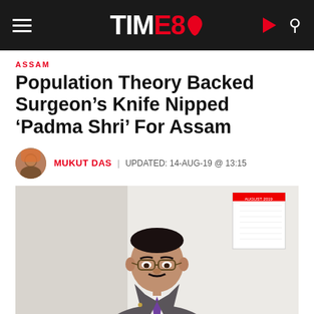TIME8
ASSAM
Population Theory Backed Surgeon’s Knife Nipped ‘Padma Shri’ For Assam
MUKUT DAS | UPDATED: 14-AUG-19 @ 13:15
[Figure (photo): A middle-aged Indian man in a grey suit and purple tie, seated, with a calendar visible on the wall behind him.]